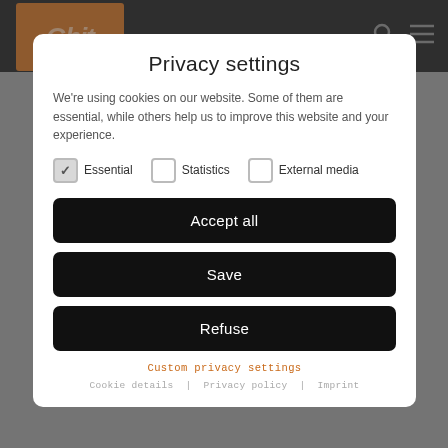[Figure (screenshot): Dark website header with logo and navigation icons in the background behind a modal dialog]
Privacy settings
We're using cookies on our website. Some of them are essential, while others help us to improve this website and your experience.
Essential (checked), Statistics (unchecked), External media (unchecked)
Accept all
Save
Refuse
Custom privacy settings
Cookie details | Privacy policy | Imprint